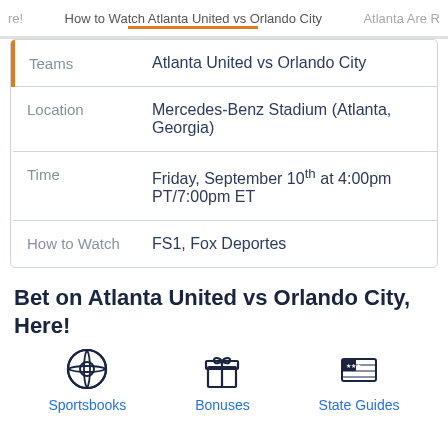re! | How to Watch Atlanta United vs Orlando City | Atlanta Are R
| Teams | Atlanta United vs Orlando City |
| Location | Mercedes-Benz Stadium (Atlanta, Georgia) |
| Time | Friday, September 10th at 4:00pm PT/7:00pm ET |
| How to Watch | FS1, Fox Deportes |
Bet on Atlanta United vs Orlando City, Here!
[Figure (illustration): Soccer ball icon for Sportsbooks]
Sportsbooks
[Figure (illustration): Gift box icon for Bonuses]
Bonuses
[Figure (illustration): USA map icon for State Guides]
State Guides